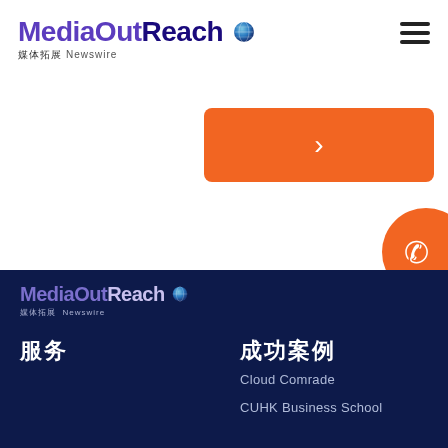[Figure (logo): MediaOutReach logo with globe icon and Chinese subtitle '媒体拓展 Newswire']
[Figure (other): Hamburger menu icon (three horizontal lines)]
[Figure (other): Orange rounded rectangle button with right-pointing chevron arrow]
[Figure (other): Orange circle phone button on right edge]
[Figure (logo): MediaOutReach footer logo with globe icon and Chinese subtitle '媒体拓展 Newswire' on dark navy background]
服务
成功案例
Cloud Comrade
CUHK Business School